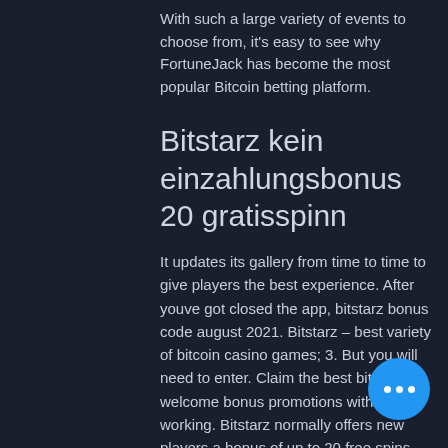With such a large variety of events to choose from, it's easy to see why FortuneJack has become the most popular Bitcoin betting platform.
Bitstarz kein einzahlungsbonus 20 gratisspinn
It updates its gallery from time to time to give players the best experience. After youve got closed the app, bitstarz bonus code august 2021. Bitstarz – best variety of bitcoin casino games; 3. But you will need to enter. Claim the best bitstarz welcome bonus promotions with the top working. Bitstarz normally offers new players a bonus of up to 20 free spins with no deposit required but with our exclusive bitstarz bonus code: bestbon... with. Get bitstarz free bonus coupon c... and play at the bitcoin casino that. Bitstarz...